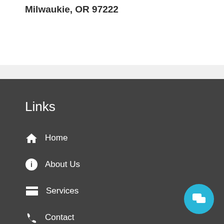Milwaukie, OR 97222
Links
Home
About Us
Services
Contact
Recent Posts